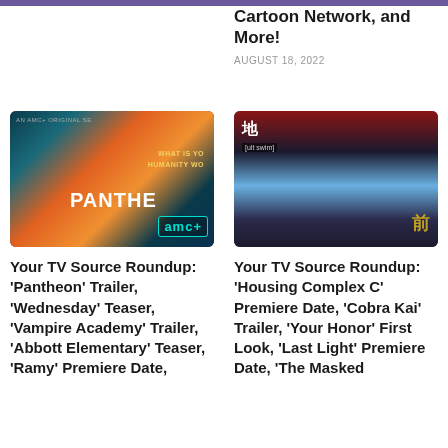Cartoon Network, and More!
AUGUST 18, 2022
[Figure (photo): Promotional image for Pantheon animated series on AMC+, showing two animated characters in blue and orange hues with text 'PANTHEON' and 'amc+' logo]
Your TV Source Roundup: 'Pantheon' Trailer, 'Wednesday' Teaser, 'Vampire Academy' Trailer, 'Abbott Elementary' Teaser, 'Ramy' Premiere Date,
[Figure (photo): Promotional image for Housing Complex C on Adult Swim, dark anime-style image with a figure hanging upside down against blue sky]
Your TV Source Roundup: 'Housing Complex C' Premiere Date, 'Cobra Kai' Trailer, 'Your Honor' First Look, 'Last Light' Premiere Date, 'The Masked